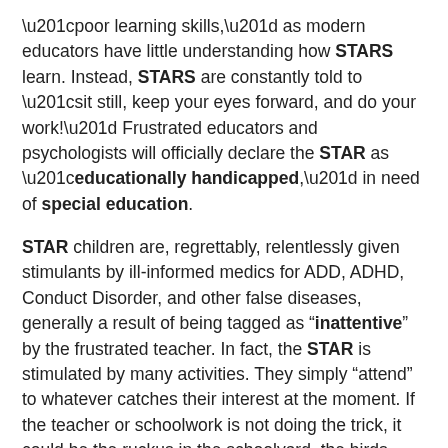“poor learning skills,” as modern educators have little understanding how STARS learn. Instead, STARS are constantly told to “sit still, keep your eyes forward, and do your work!” Frustrated educators and psychologists will officially declare the STAR as “educationally handicapped,” in need of special education.
STAR children are, regrettably, relentlessly given stimulants by ill-informed medics for ADD, ADHD, Conduct Disorder, and other false diseases, generally a result of being tagged as “inattentive” by the frustrated teacher. In fact, the STAR is stimulated by many activities. They simply “attend” to whatever catches their interest at the moment. If the teacher or schoolwork is not doing the trick, it could be the ruckus in the schoolyard, the birds flying outside, or the pigtails of the girl in front of him.